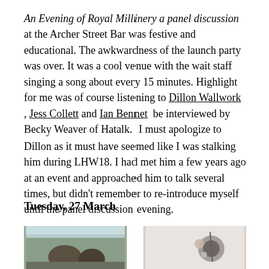An Evening of Royal Millinery a panel discussion at the Archer Street Bar was festive and educational. The awkwardness of the launch party was over. It was a cool venue with the wait staff singing a song about every 15 minutes. Highlight for me was of course listening to Dillon Wallwork , Jess Collett and Ian Bennet  be interviewed by Becky Weaver of Hatalk.  I must apologize to Dillon as it must have seemed like I was stalking him during LHW18. I had met him a few years ago at an event and approached him to talk several times, but didn't remember to re-introduce myself until the panel discussion evening.
Tuesday, 27 March
[Figure (photo): Photo of people viewed from behind looking out a window]
[Figure (photo): Photo of millinery items including a hat and decorative accessories against a white wall]